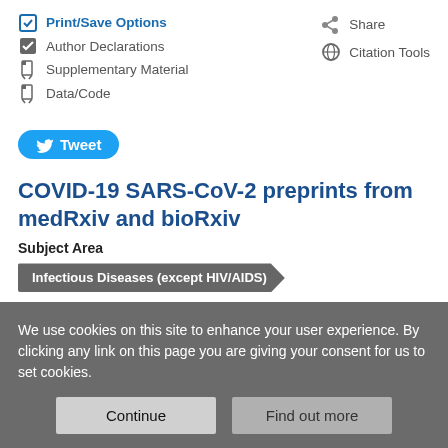Print/Save Options
Share
Author Declarations
Citation Tools
Supplementary Material
Data/Code
Tweet
COVID-19 SARS-CoV-2 preprints from medRxiv and bioRxiv
Subject Area
Infectious Diseases (except HIV/AIDS)
We use cookies on this site to enhance your user experience. By clicking any link on this page you are giving your consent for us to set cookies.